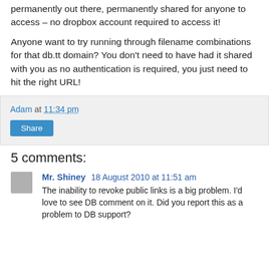permanently out there, permanently shared for anyone to access – no dropbox account required to access it!
Anyone want to try running through filename combinations for that db.tt domain? You don't need to have had it shared with you as no authentication is required, you just need to hit the right URL!
Adam at 11:34 pm
Share
5 comments:
Mr. Shiney 18 August 2010 at 11:51 am
The inability to revoke public links is a big problem. I'd love to see DB comment on it. Did you report this as a problem to DB support?